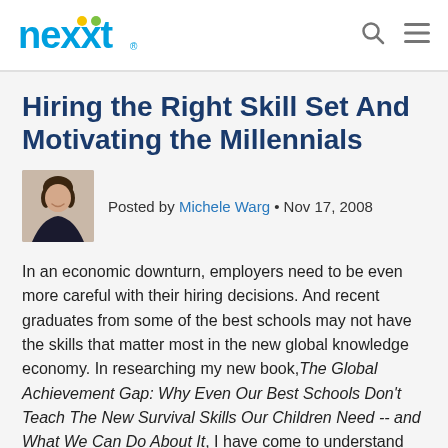nexxt
Hiring the Right Skill Set And Motivating the Millennials
Posted by Michele Warg • Nov 17, 2008
In an economic downturn, employers need to be even more careful with their hiring decisions. And recent graduates from some of the best schools may not have the skills that matter most in the new global knowledge economy. In researching my new book, The Global Achievement Gap: Why Even Our Best Schools Don't Teach The New Survival Skills Our Children Need -- and What We Can Do About It, I have come to understand that there are "7 Survival Skills" for the New World of Work, and that employers must look beyond applicants' "pedigrees" to carefully assess whether they have the skills that matter most. New Skills Here are